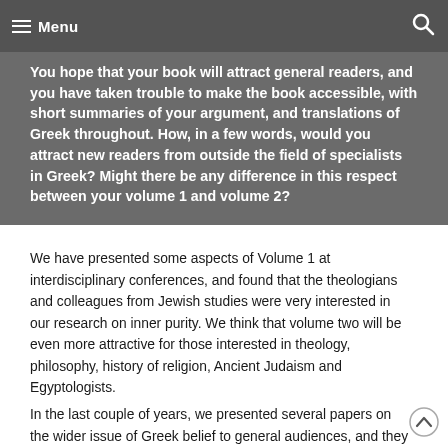Menu
You hope that your book will attract general readers, and you have taken trouble to make the book accessible, with short summaries of your argument, and translations of Greek throughout. How, in a few words, would you attract new readers from outside the field of specialists in Greek? Might there be any difference in this respect between your volume 1 and volume 2?
We have presented some aspects of Volume 1 at interdisciplinary conferences, and found that the theologians and colleagues from Jewish studies were very interested in our research on inner purity. We think that volume two will be even more attractive for those interested in theology, philosophy, history of religion, Ancient Judaism and Egyptologists.
In the last couple of years, we presented several papers on the wider issue of Greek belief to general audiences, and they were very interested to learn